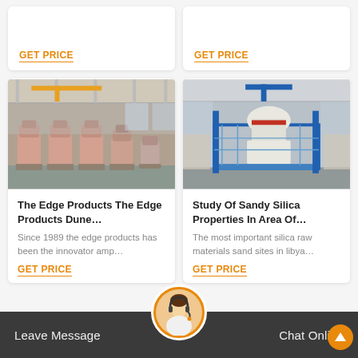GET PRICE
GET PRICE
[Figure (photo): Industrial factory interior showing multiple large cone crusher machines (pink/beige colored) lined up in a warehouse with high ceilings and yellow cranes.]
[Figure (photo): Industrial factory showing a blue-framed vertical shaft impact crusher or similar mining machine on a platform with white/grey components.]
The Edge Products The Edge Products Dune…
Since 1989 the edge products has been the innovator amp…
GET PRICE
Study Of Sandy Silica Properties In Area Of…
The most important silica raw materials sand sites in libya…
GET PRICE
Leave Message   Chat Online